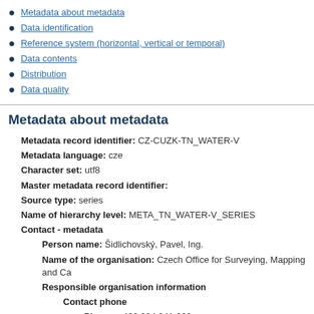Metadata about metadata
Data identification
Reference system (horizontal, vertical or temporal)
Data contents
Distribution
Data quality
Metadata about metadata
Metadata record identifier: CZ-CUZK-TN_WATER-V
Metadata language: cze
Character set: utf8
Master metadata record identifier:
Source type: series
Name of hierarchy level: META_TN_WATER-V_SERIES
Contact - metadata
Person name: Šidlichovský, Pavel, Ing.
Name of the organisation: Czech Office for Surveying, Mapping and Ca
Responsible organisation information
Contact phone
Phone: +420 284 041 660
Fax: +420 284 041 416
Address
Delivery place: Pod sídlištěm 1800/9